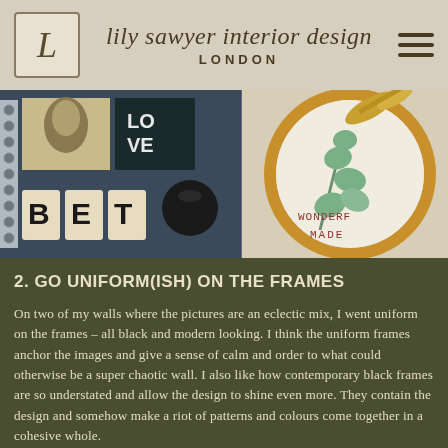lily sawyer interior design LONDON
[Figure (photo): Two-panel photo strip: left side shows a gallery wall with scrabble letter tiles spelling BET, a LOVE art print on dark background, decorative art with a face, a spiral-bound notebook, and a black globe lamp. Right side shows a cross-stitch embroidery hoop with green leaf design and text reading WONDERFULLY MADE in red on white fabric, with gold scissors.]
2. GO UNIFORM(ISH) ON THE FRAMES
On two of my walls where the pictures are an eclectic mix, I went uniform on the frames – all black and modern looking. I think the uniform frames anchor the images and give a sense of calm and order to what could otherwise be a super chaotic wall. I also like how contemporary black frames are so understated and allow the design to shine even more. They contain the design and somehow make a riot of patterns and colours come together in a cohesive whole.